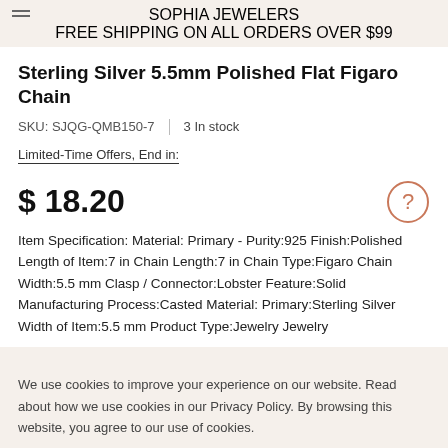SOPHIA JEWELERS
FREE SHIPPING ON ALL ORDERS OVER $99
Sterling Silver 5.5mm Polished Flat Figaro Chain
SKU: SJQG-QMB150-7  |  3 In stock
Limited-Time Offers, End in:
$ 18.20
Item Specification: Material: Primary - Purity:925 Finish:Polished Length of Item:7 in Chain Length:7 in Chain Type:Figaro Chain Width:5.5 mm Clasp / Connector:Lobster Feature:Solid Manufacturing Process:Casted Material: Primary:Sterling Silver Width of Item:5.5 mm Product Type:Jewelry Jewelry
We use cookies to improve your experience on our website. Read about how we use cookies in our Privacy Policy. By browsing this website, you agree to our use of cookies.
Accept Cookies